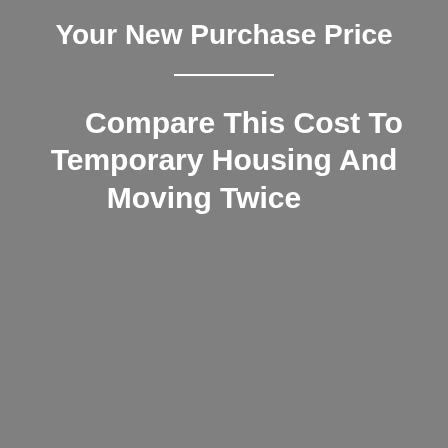Your New Purchase Price
Compare This Cost To Temporary Housing And Moving Twice